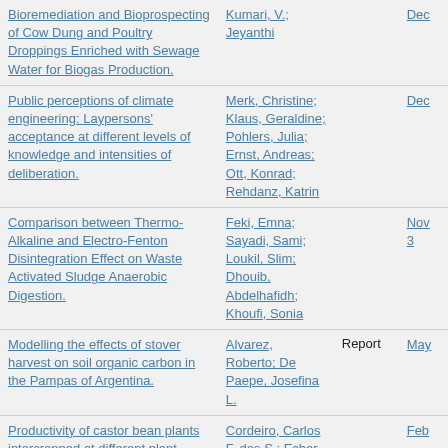Bioremediation and Bioprospecting of Cow Dung and Poultry Droppings Enriched with Sewage Water for Biogas Production. | Kumari, V.; Jeyanthi | Dec
Public perceptions of climate engineering: Laypersons' acceptance at different levels of knowledge and intensities of deliberation. | Merk, Christine; Klaus, Geraldine; Pohlers, Julia; Ernst, Andreas; Ott, Konrad; Rehdanz, Katrin | Dec
Comparison between Thermo-Alkaline and Electro-Fenton Disintegration Effect on Waste Activated Sludge Anaerobic Digestion. | Feki, Emna; Sayadi, Sami; Loukil, Slim; Dhouib, Abdelhafidh; Khoufi, Sonia | Nov 3
Modelling the effects of stover harvest on soil organic carbon in the Pampas of Argentina. | Alvarez, Roberto; De Paepe, Josefina L. | Report | May
Productivity of castor bean plants intercropped at different plant densities with Urochloa ruziziensis/Produtividade da mamona em diferentes populasoes de plantas... | Cordeiro, Carlos F. dos S.; Echer, Fabio R.; Pires, Lucas H.T.; Creste, Jose E. | Feb